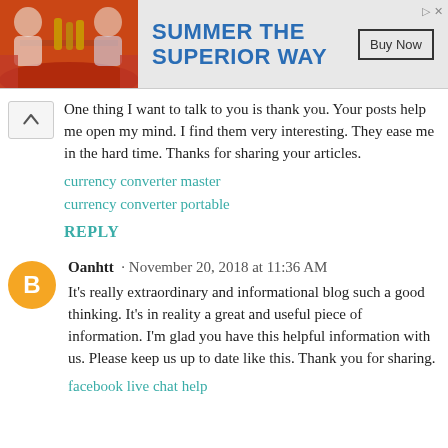[Figure (other): Advertisement banner: photo of people at a table with drinks on the left, text 'SUMMER THE SUPERIOR WAY' in bold blue on the right with a 'Buy Now' button]
One thing I want to talk to you is thank you. Your posts help me open my mind. I find them very interesting. They ease me in the hard time. Thanks for sharing your articles.
currency converter master
currency converter portable
REPLY
Oanhtt · November 20, 2018 at 11:36 AM
It's really extraordinary and informational blog such a good thinking. It's in reality a great and useful piece of information. I'm glad you have this helpful information with us. Please keep us up to date like this. Thank you for sharing.
facebook live chat help